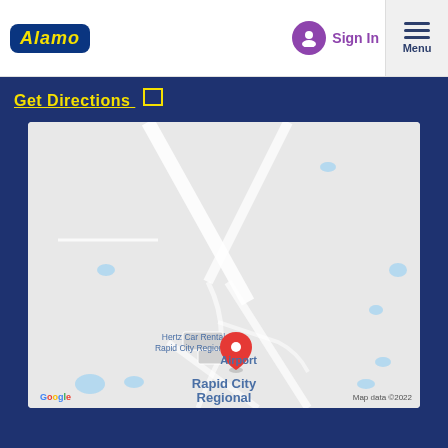[Figure (logo): Alamo car rental logo - yellow italic text on dark blue rounded rectangle background]
Sign In
Menu
Get Directions
[Figure (map): Google Maps screenshot showing Rapid City Regional Airport with a red location pin marker labeled 'Hertz Car Rental - Rapid City Regional...' and airport runways visible. Map data ©2022.]